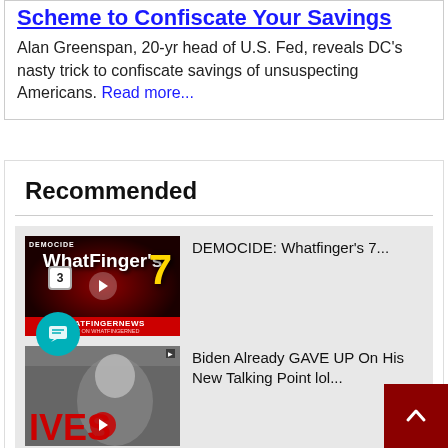Scheme to Confiscate Your Savings
Alan Greenspan, 20-yr head of U.S. Fed, reveals DC's nasty trick to confiscate savings of unsuspecting Americans. Read more...
Recommended
[Figure (screenshot): Thumbnail for DEMOCIDE Whatfinger's 7 video with dark red background, Whatfinger News logo and play button]
DEMOCIDE: Whatfinger's 7...
[Figure (screenshot): Thumbnail for Biden Already GAVE UP On His New Talking Point lol... video showing Biden with red text IVES]
Biden Already GAVE UP On His New Talking Point lol...